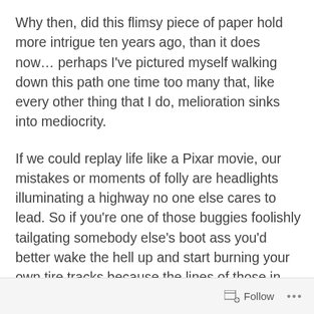Why then, did this flimsy piece of paper hold more intrigue ten years ago, than it does now... perhaps I've pictured myself walking down this path one time too many that, like every other thing that I do, melioration sinks into mediocrity.
If we could replay life like a Pixar movie, our mistakes or moments of folly are headlights illuminating a highway no one else cares to lead. So if you're one of those buggies foolishly tailgating somebody else's boot ass you'd better wake the hell up and start burning your own tire tracks because the lines of those in front of you will never make the perfect fit.
Follow ...